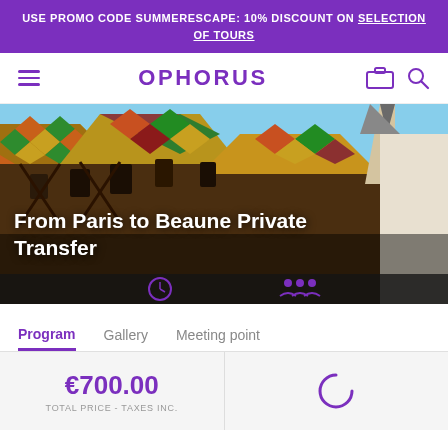USE PROMO CODE SUMMERESCAPE: 10% DISCOUNT ON SELECTION OF TOURS
OPHORUS
[Figure (photo): Photo of Beaune historic building with colorful patterned tiled roofs, Gothic architecture]
From Paris to Beaune Private Transfer
Program
Gallery
Meeting point
€700.00
TOTAL PRICE - TAXES INC.